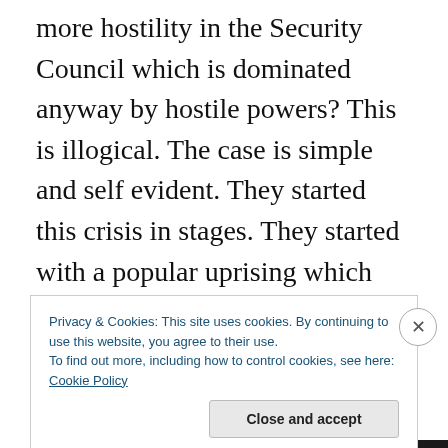more hostility in the Security Council which is dominated anyway by hostile powers? This is illogical. The case is simple and self evident. They started this crisis in stages. They started with a popular uprising which they expected to break out in a matter of weeks. They failed until Ramadan. After Ramadan, they started with armed action through which they wanted to confront the army, the security forces and the police. They failed. After that they moved to the stage of assassinations and explosive
Privacy & Cookies: This site uses cookies. By continuing to use this website, you agree to their use.
To find out more, including how to control cookies, see here: Cookie Policy